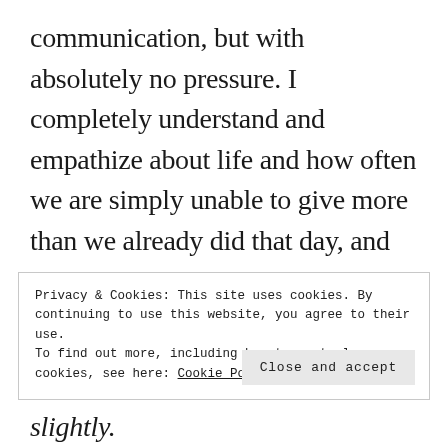communication, but with absolutely no pressure. I completely understand and empathize about life and how often we are simply unable to give more than we already did that day, and how sometimes each day continues in that same pattern.
Privacy & Cookies: This site uses cookies. By continuing to use this website, you agree to their use.
To find out more, including how to control cookies, see here: Cookie Policy
Close and accept
slightly.